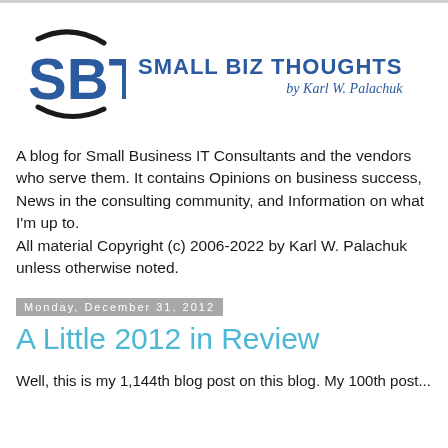[Figure (logo): SBT Small Biz Thoughts by Karl W. Palachuk logo with circular swoosh mark and blue SBT letters]
A blog for Small Business IT Consultants and the vendors who serve them. It contains Opinions on business success, News in the consulting community, and Information on what I'm up to.
All material Copyright (c) 2006-2022 by Karl W. Palachuk unless otherwise noted.
Monday, December 31, 2012
A Little 2012 in Review
Well, this is my 1,144th blog post on this blog. My 100th post...